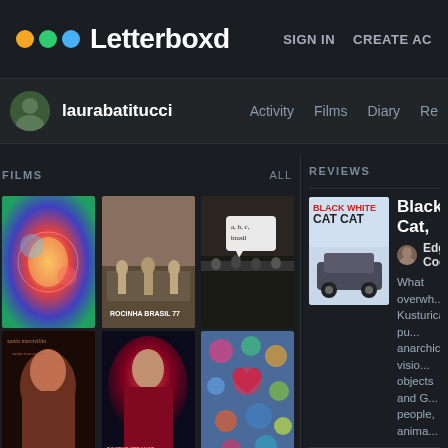Letterboxd — SIGN IN  CREATE ACCOUNT
laurabatitucci — Activity  Films  Diary  Re...
FILMS  ALL
[Figure (screenshot): Grid of 6 film poster thumbnails: colorful psychedelic poster, Rocinha Brasil 77, a,b,c,brazil, a woman film, Doctor Strange Multiverse of Madness, floral poster]
REVIEWS
[Figure (photo): Black White Cat Cat movie poster showing a car on a beach]
Black Cat,
Edgar Coch...
What overwh... Kusturica's pu... anarchic visio... objects and G... people, anima...
[Figure (photo): Rocky IV movie poster]
Rocky IV